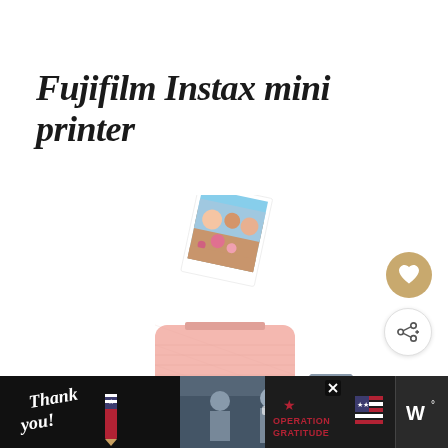Fujifilm Instax mini printer
[Figure (photo): Pink Fujifilm Instax Mini Link printer with a photo printing out from the top, showing a group photo. The printer is small, rectangular with a textured pink body and a small oval button on the front.]
[Figure (photo): Thumbnail image for 'What's Next' section showing travel scene]
WHAT'S NEXT → 10 Best Travel Scarves for...
[Figure (screenshot): Advertisement banner at the bottom: dark background with 'Thank you!' handwritten text and an American flag pencil graphic, soldiers photo in the middle, Operation Gratitude logo on the right, and a close button (X). Wiremo or similar app icon on far right.]